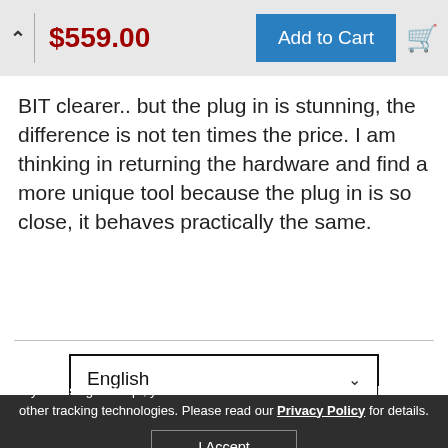$559.00  Add to Cart
BIT clearer.. but the plug in is stunning, the difference is not ten times the price. I am thinking in returning the hardware and find a more unique tool because the plug in is so close, it behaves practically the same.
English (dropdown)
By choosing I Accept, you consent to our website's use of cookies and other tracking technologies. Please read our Privacy Policy for details.
I Accept